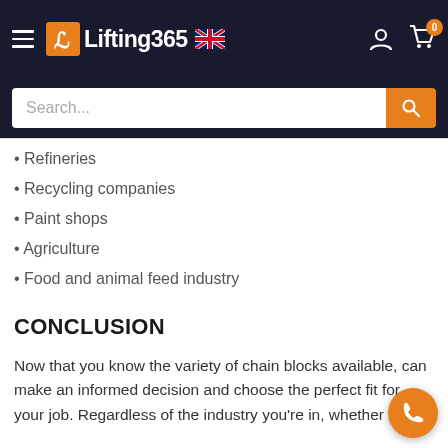Lifting365 [UK flag] navigation header with search bar
Refineries
Recycling companies
Paint shops
Agriculture
Food and animal feed industry
CONCLUSION
Now that you know the variety of chain blocks available, can make an informed decision and choose the perfect fit for your job. Regardless of the industry you're in, whether its